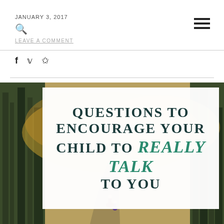JANUARY 3, 2017  LEAVE A COMMENT
f  twitter  pinterest (social share icons)
[Figure (illustration): Blog post featured image with forest/nature background showing a parent and child walking on a trail, with a white overlay box containing the article title text: QUESTIONS TO ENCOURAGE YOUR CHILD TO really talk TO YOU]
QUESTIONS TO ENCOURAGE YOUR CHILD TO really talk TO YOU